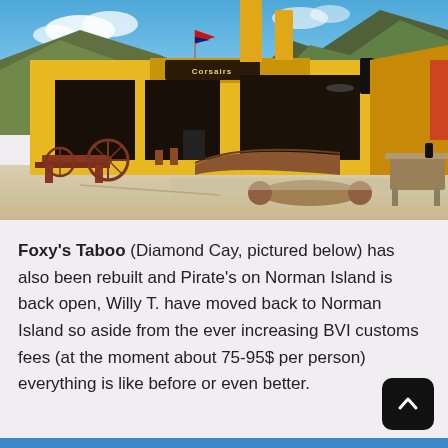[Figure (photo): Exterior photo of a yellow beach bar/restaurant with open-air seating, a wooden bar counter, picnic tables, Caribbean-style architecture with mountains and blue sky in background. Sign reads 'Corsairs'.]
Foxy's Taboo (Diamond Cay, pictured below) has also been rebuilt and Pirate's on Norman Island is back open, Willy T. have moved back to Norman Island so aside from the ever increasing BVI customs fees (at the moment about 75-95$ per person) everything is like before or even better.